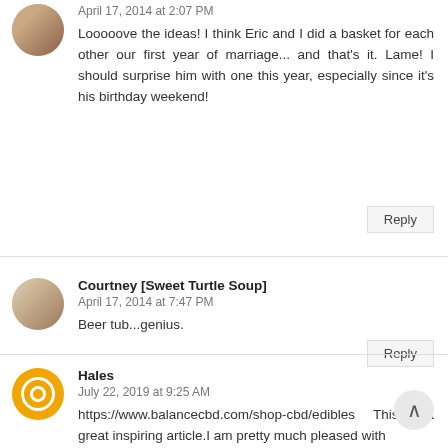April 17, 2014 at 2:07 PM
Looooove the ideas! I think Eric and I did a basket for each other our first year of marriage... and that's it. Lame! I should surprise him with one this year, especially since it's his birthday weekend!
Reply
Courtney [Sweet Turtle Soup]
April 17, 2014 at 7:47 PM
Beer tub...genius.
Reply
Hales
July 22, 2019 at 9:25 AM
https://www.balancecbd.com/shop-cbd/edibles  This is a great inspiring article.I am pretty much pleased with